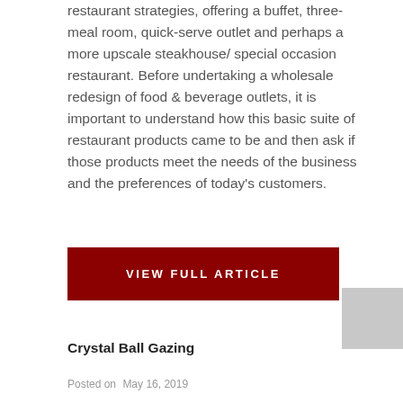restaurant strategies, offering a buffet, three-meal room, quick-serve outlet and perhaps a more upscale steakhouse/special occasion restaurant. Before undertaking a wholesale redesign of food & beverage outlets, it is important to understand how this basic suite of restaurant products came to be and then ask if those products meet the needs of the business and the preferences of today's customers.
VIEW FULL ARTICLE
Crystal Ball Gazing
Posted on  May 16, 2019